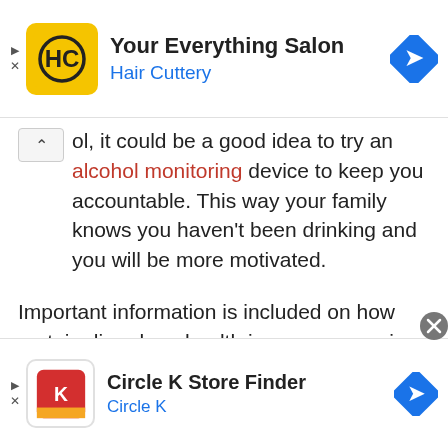[Figure (screenshot): Top advertisement banner: Hair Cuttery 'Your Everything Salon' ad with yellow HC logo, navigation arrow icon, and ad controls (play/close).]
ol, it could be a good idea to try an alcohol monitoring device to keep you accountable. This way your family knows you haven't been drinking and you will be more motivated.
Important information is included on how certain disorders, health issues or exercises can affect your weight. Food addiction and cravings are not just due to a lack of willpower. There are many "dirty little secrets" with unhealthy processed foods which is a
[Figure (screenshot): Bottom advertisement banner: Circle K Store Finder ad with red Circle K logo, navigation arrow icon, and ad controls.]